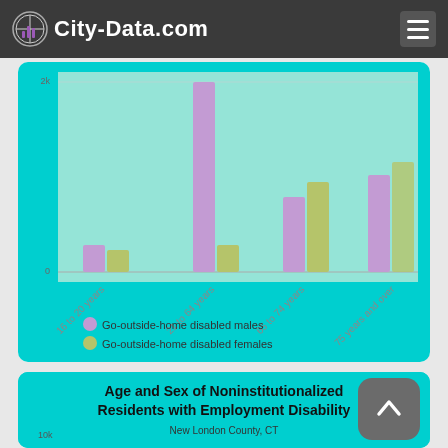City-Data.com
[Figure (grouped-bar-chart): Go-outside-home disabled by age (partial)]
Go-outside-home disabled males | Go-outside-home disabled females
Age and Sex of Noninstitutionalized Residents with Employment Disability
New London County, CT